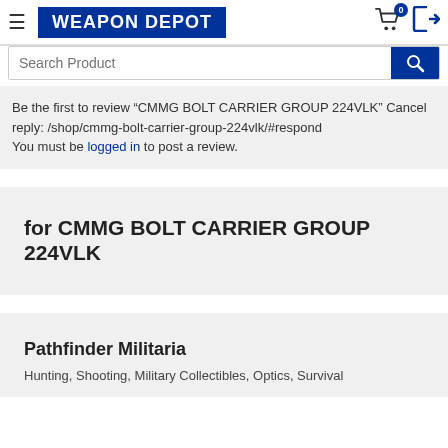WEAPON DEPOT
Be the first to review “CMMG BOLT CARRIER GROUP 224VLK” Cancel reply: /shop/cmmg-bolt-carrier-group-224vlk/#respond
You must be logged in to post a review.
for CMMG BOLT CARRIER GROUP 224VLK
Pathfinder Militaria
Hunting, Shooting, Military Collectibles, Optics, Survival